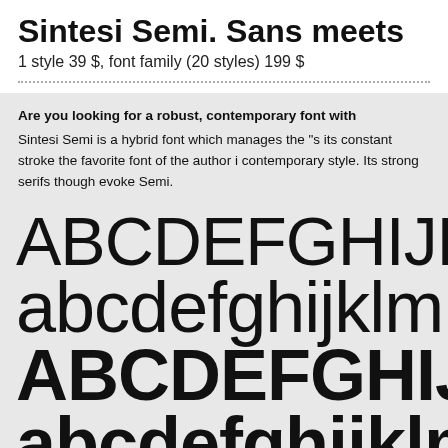Sintesi Semi. Sans meets
1 style 39 $, font family (20 styles) 199 $
Are you looking for a robust, contemporary font with...
Sintesi Semi is a hybrid font which manages the "s..." its constant stroke the favorite font of the author is... contemporary style. Its strong serifs though evoke... Semi.
[Figure (illustration): Alphabet specimen showing uppercase ABCDEFGHIJKLM in thin weight, lowercase abcdefghijklm in regular weight, uppercase ABCDEFGHIJKLM in bold weight, and lowercase abcdefghijklm in bold weight, demonstrating the Sintesi Semi typeface family.]